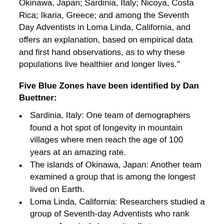Okinawa, Japan; Sardinia, Italy; Nicoya, Costa Rica; Ikaria, Greece; and among the Seventh Day Adventists in Loma Linda, California, and offers an explanation, based on empirical data and first hand observations, as to why these populations live healthier and longer lives."
Five Blue Zones have been identified by Dan Buettner:
Sardinia, Italy: One team of demographers found a hot spot of longevity in mountain villages where men reach the age of 100 years at an amazing rate.
The islands of Okinawa, Japan: Another team examined a group that is among the longest lived on Earth.
Loma Linda, California: Researchers studied a group of Seventh-day Adventists who rank among America's longevity all-stars.
Nicoya Peninsula, Costa Rica: The Nicoya Peninsula was the subject of research on a Quest Network expedition which began on January 29, 2007.
Icaria, Greece: The April '09 expedition to the island of